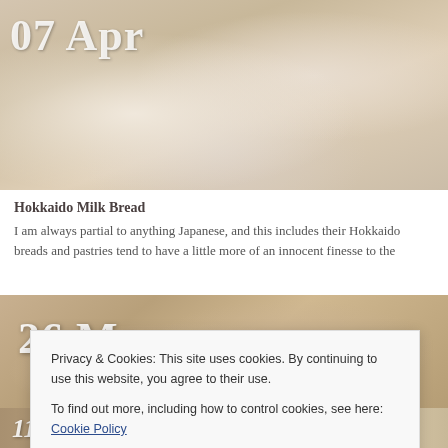[Figure (photo): Close-up photo of Hokkaido milk bread dough, pale cream colored, with date label '07 Apr' overlaid in white text]
Hokkaido Milk Bread
I am always partial to anything Japanese, and this includes their Hokkaido breads and pastries tend to have a little more of an innocent finesse to the
[Figure (photo): Close-up photo of bread dough with folds and creases, warm golden-brown tones, with date label '26 Mar' overlaid in white text]
Privacy & Cookies: This site uses cookies. By continuing to use this website, you agree to their use.
To find out more, including how to control cookies, see here: Cookie Policy
[Figure (photo): Partial view of another bread photo with date '11 Mar' overlaid at bottom]